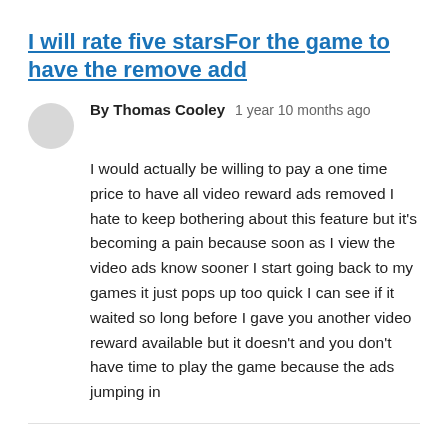I will rate five starsFor the game to have the remove add
By Thomas Cooley   1 year 10 months ago
I would actually be willing to pay a one time price to have all video reward ads removed I hate to keep bothering about this feature but it's becoming a pain because soon as I view the video ads know sooner I start going back to my games it just pops up too quick I can see if it waited so long before I gave you another video reward available but it doesn't and you don't have time to play the game because the ads jumping in